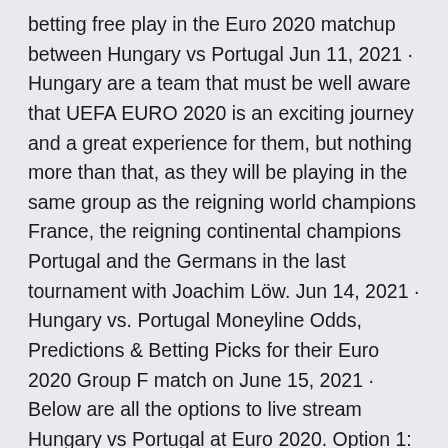betting free play in the Euro 2020 matchup between Hungary vs Portugal Jun 11, 2021 · Hungary are a team that must be well aware that UEFA EURO 2020 is an exciting journey and a great experience for them, but nothing more than that, as they will be playing in the same group as the reigning world champions France, the reigning continental champions Portugal and the Germans in the last tournament with Joachim Löw. Jun 14, 2021 · Hungary vs. Portugal Moneyline Odds, Predictions & Betting Picks for their Euro 2020 Group F match on June 15, 2021 · Below are all the options to live stream Hungary vs Portugal at Euro 2020. Option 1: Hungary vs Portugal live streaming from anywhere in the world. finished qualifying with 17 points, three · UEFA Euro 2020 odds, picks, predictions: European soccer expert reveals best bets for Hungary vs.